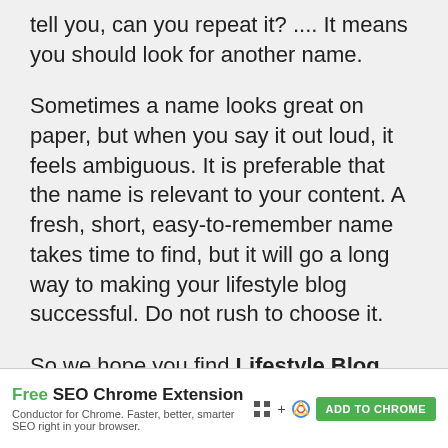tell you, can you repeat it? .... It means you should look for another name.
Sometimes a name looks great on paper, but when you say it out loud, it feels ambiguous. It is preferable that the name is relevant to your content. A fresh, short, easy-to-remember name takes time to find, but it will go a long way to making your lifestyle blog successful. Do not rush to choose it.
So we hope you find Lifestyle Blog Names,
[Figure (infographic): Advertisement bar: 'Free SEO Chrome Extension' with Add to Chrome button]